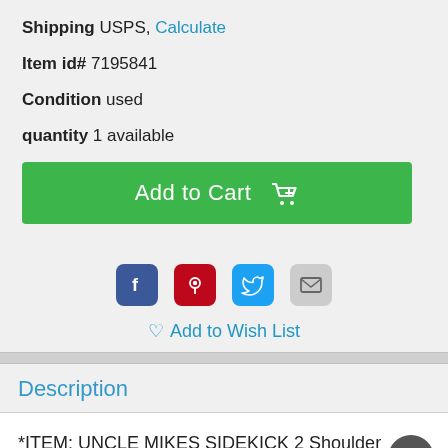Shipping USPS, Calculate
Item id# 7195841
Condition used
quantity 1 available
Add to Cart
[Figure (illustration): Social media share icons: Facebook, Pinterest, Twitter, Email]
Add to Wish List
Description
*ITEM: UNCLE MIKES SIDEKICK 2 Shoulder Holster Plus Clip Pouch